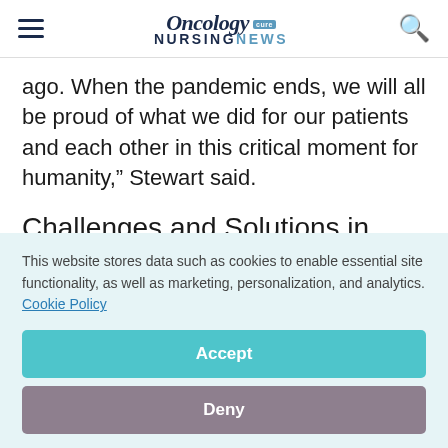Oncology Nursing News
ago. When the pandemic ends, we will all be proud of what we did for our patients and each other in this critical moment for humanity," Stewart said.
Challenges and Solutions in Facing the Pandemic
This website stores data such as cookies to enable essential site functionality, as well as marketing, personalization, and analytics. Cookie Policy
Accept
Deny